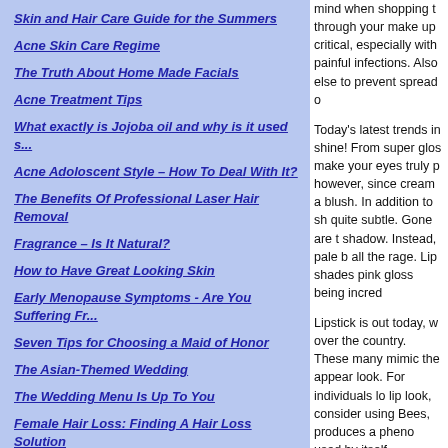Skin and Hair Care Guide for the Summers
Acne Skin Care Regime
The Truth About Home Made Facials
Acne Treatment Tips
What exactly is Jojoba oil and why is it used s...
Acne Adoloscent Style – How To Deal With It?
The Benefits Of Professional Laser Hair Removal
Fragrance – Is It Natural?
How to Have Great Looking Skin
Early Menopause Symptoms - Are You Suffering Fr...
Seven Tips for Choosing a Maid of Honor
The Asian-Themed Wedding
The Wedding Menu Is Up To You
Female Hair Loss: Finding A Hair Loss Solution
mind when shopping t through your make up critical, especially with painful infections. Also else to prevent spread o
Today's latest trends in shine! From super glos make your eyes truly p however, since cream a blush. In addition to sh quite subtle. Gone are t shadow. Instead, pale b all the rage. Lip shades pink gloss being incred
Lipstick is out today, w over the country. These many mimic the appear look. For individuals lo lip look, consider using Bees, produces a pheno used by itself.
The days of pressed po include cream powders